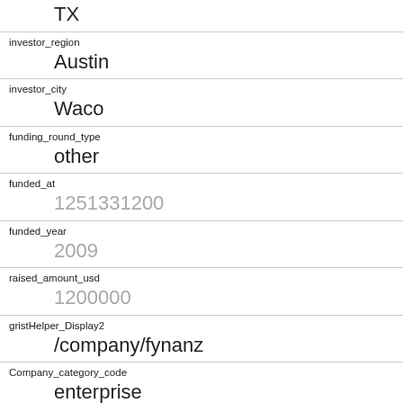| field | value |
| --- | --- |
| investor_state_code | TX |
| investor_region | Austin |
| investor_city | Waco |
| funding_round_type | other |
| funded_at | 1251331200 |
| funded_year | 2009 |
| raised_amount_usd | 1200000 |
| gristHelper_Display2 | /company/fynanz |
| Company_category_code | enterprise |
| Investor | Brazos Group
https://www.crunchbase.com/company/brazos- |